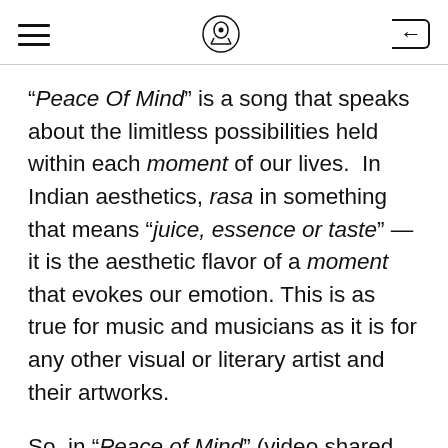[hamburger menu] [logo icon] [back button]
"Peace Of Mind" is a song that speaks about the limitless possibilities held within each moment of our lives. In Indian aesthetics, rasa in something that means "juice, essence or taste" — it is the aesthetic flavor of a moment that evokes our emotion. This is as true for music and musicians as it is for any other visual or literary artist and their artworks.
So, in "Peace of Mind" (video shared below) we are presented with an atmosphere that's charged with tension: and the